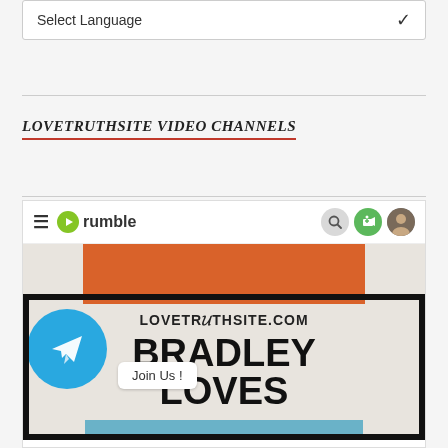Select Language
LOVETRUTHSITE VIDEO CHANNELS
[Figure (screenshot): Screenshot of Rumble video platform showing the Rumble navigation bar with hamburger menu, Rumble logo, search, add, and avatar icons, and below it a video thumbnail for LoveTruthSite.com Bradley Loves channel with Telegram join button overlay]